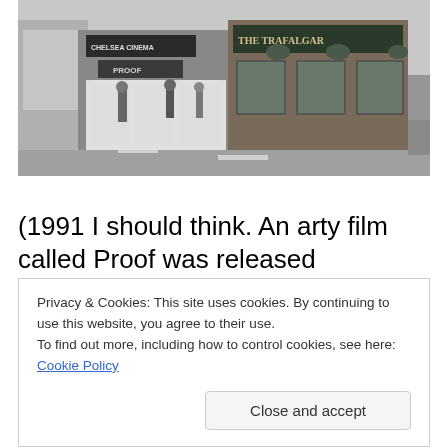[Figure (photo): Black and white street photograph showing a row of shops including Chelsea Cinema with 'PROOF' on the marquee and The Trafalgar pub. Pedestrians visible on the pavement and road.]
(1991 I should think. An arty film called Proof was released that year.)
Privacy & Cookies: This site uses cookies. By continuing to use this website, you agree to their use.
To find out more, including how to control cookies, see here: Cookie Policy
Close and accept